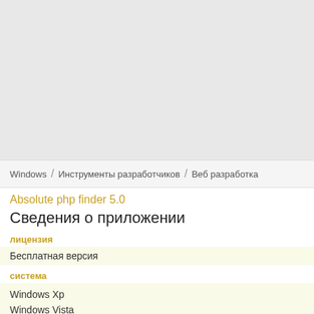[Figure (other): Gray placeholder image area at top of page]
Windows / Инструменты разработчиков / Веб разработка
Absolute php finder 5.0
Сведения о приложении
лицензия
Бесплатная версия
система
Windows Xp
Windows Vista